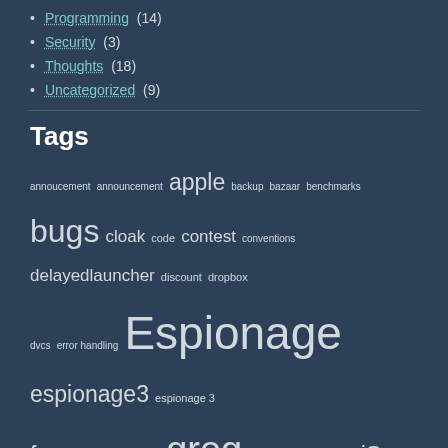Programming (14)
Security (3)
Thoughts (18)
Uncategorized (9)
Tags
annoucement announcement apple backup bazaar benchmarks bugs cloak code contest conventions delayedlauncher discount dropbox dvcs error handling Espionage espionage3 espionage 3 free FuckingAppStore greg iPhone iPhone SDK iSpy legal logitech newLISP news open source os x performance plausible deniability problems security sparkle sparklegate spyware Steve Jobs support Thoughts time machine update vulnerability wireless sleeper